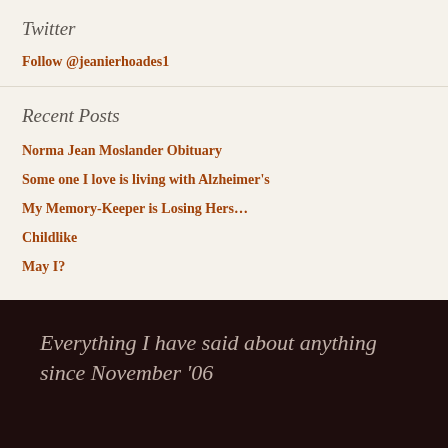Twitter
Follow @jeanierhoades1
Recent Posts
Norma Jean Moslander Obituary
Some one I love is living with Alzheimer's
My Memory-Keeper is Losing Hers…
Childlike
May I?
Everything I have said about anything since November '06